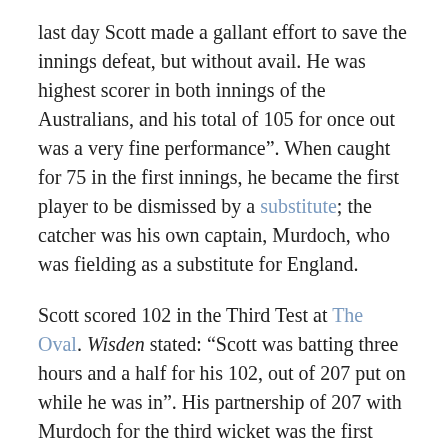last day Scott made a gallant effort to save the innings defeat, but without avail. He was highest scorer in both innings of the Australians, and his total of 105 for once out was a very fine performance". When caught for 75 in the first innings, he became the first player to be dismissed by a substitute; the catcher was his own captain, Murdoch, who was fielding as a substitute for England.
Scott scored 102 in the Third Test at The Oval. Wisden stated: “Scott was batting three hours and a half for his 102, out of 207 put on while he was in". His partnership of 207 with Murdoch for the third wicket was the first time a partnership of 200 had been achieved in a Test.
Among his other successes on the tour, Scott scored